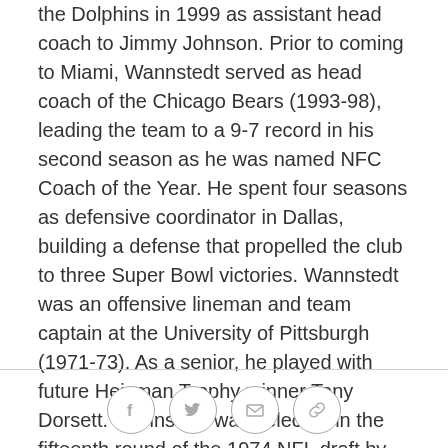the Dolphins in 1999 as assistant head coach to Jimmy Johnson. Prior to coming to Miami, Wannstedt served as head coach of the Chicago Bears (1993-98), leading the team to a 9-7 record in his second season as he was named NFC Coach of the Year. He spent four seasons as defensive coordinator in Dallas, building a defense that propelled the club to three Super Bowl victories. Wannstedt was an offensive lineman and team captain at the University of Pittsburgh (1971-73). As a senior, he played with future Heisman Trophy-winner Tony Dorsett. Wannstedt was selected in the fifteenth round of the 1974 NFL draft by the Green Bay Packers and spent the season on the injured reserve. He began his coaching career as an assistant at Pittsburgh (1975-78). He also served as an assistant at Oklahoma State (1979-1982), Southern California
[Figure (other): Social media sharing icons: Facebook, Twitter, Email, Link]